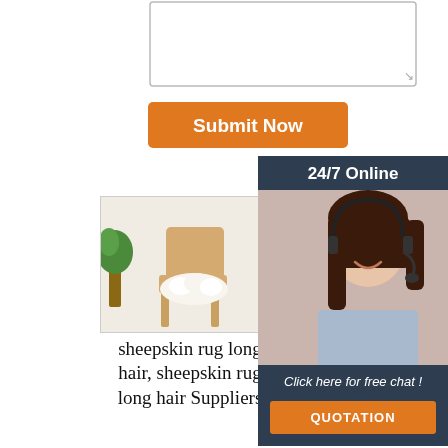[Figure (screenshot): Empty textarea input field]
[Figure (screenshot): Orange 'Submit Now' button]
[Figure (photo): Sheepskin rug on a wooden chair in a white interior]
[Figure (photo): High quality white sheepskin rug lying on dark floor]
[Figure (photo): Long hair fur rug, grey, on floor]
[Figure (photo): Customer service agent woman with headset, 24/7 Online chat widget overlay]
sheepskin rug long hair, sheepskin rug long hair Suppliers
high quality sheepskin rug, high quality sheepskin rug
long fur..., long hair fur rug Supplier and ...